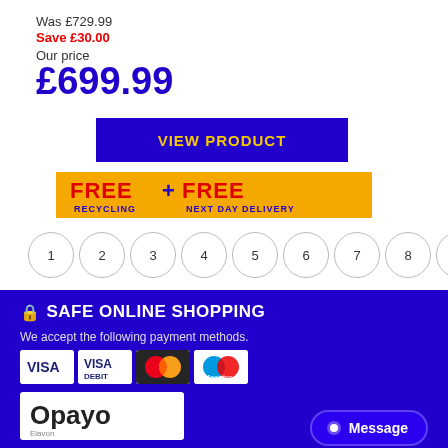Was £729.99
Save £30.00
Our price
£699.99
VIEW PRODUCT
[Figure (illustration): FREE + FREE RECYCLING NEXT DAY DELIVERY banner in orange/yellow background with red text]
1
2
3
4
5
6
7
8
9
Next
🔒 SAFE ONLINE SHOPPING
We accept the following payment methods.
[Figure (illustration): Payment card logos: VISA, VISA DEBIT, Mastercard, Maestro]
[Figure (logo): Opayo logo]
Message